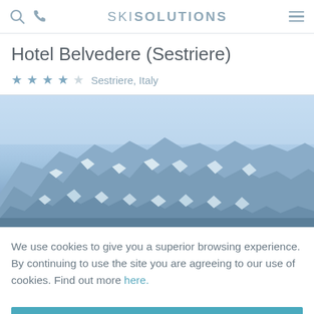SKI SOLUTIONS
Hotel Belvedere (Sestriere)
★★★★☆ Sestriere, Italy
[Figure (photo): Panoramic view of snow-covered mountain peaks with blue sky, representing the ski resort area near Sestriere, Italy]
We use cookies to give you a superior browsing experience. By continuing to use the site you are agreeing to our use of cookies. Find out more here.
Accept